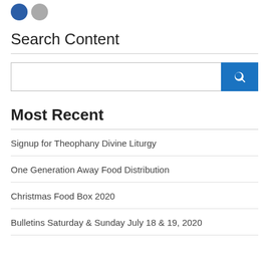[Figure (other): Two circular social media icon buttons — one blue, one gray]
Search Content
[Figure (other): Search input field with blue search button containing a magnifying glass icon]
Most Recent
Signup for Theophany Divine Liturgy
One Generation Away Food Distribution
Christmas Food Box 2020
Bulletins Saturday & Sunday July 18 & 19, 2020